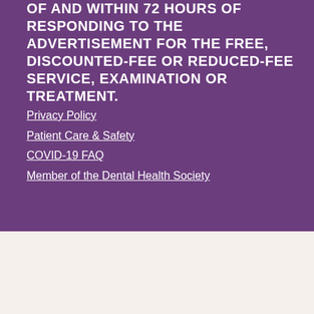OF AND WITHIN 72 HOURS OF RESPONDING TO THE ADVERTISEMENT FOR THE FREE, DISCOUNTED-FEE OR REDUCED-FEE SERVICE, EXAMINATION OR TREATMENT.
Privacy Policy
Patient Care & Safety
COVID-19 FAQ
Member of the Dental Health Society